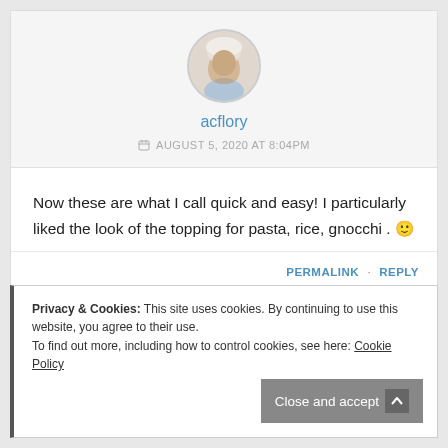[Figure (photo): Circular avatar photo of a person (acflory) with white/light background]
acflory
AUGUST 5, 2020 AT 8:04PM
Now these are what I call quick and easy! I particularly liked the look of the topping for pasta, rice, gnocchi . 🙂
PERMALINK · REPLY
Privacy & Cookies: This site uses cookies. By continuing to use this website, you agree to their use.
To find out more, including how to control cookies, see here: Cookie Policy
Close and accept